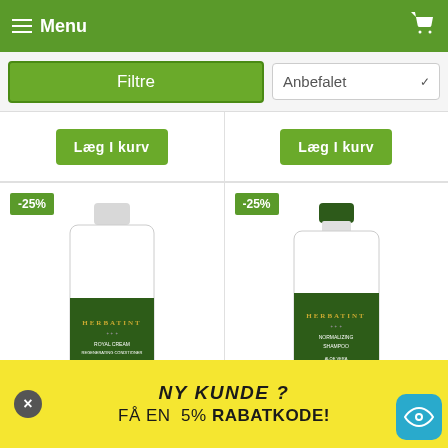Menu
Filtre
Anbefalet
Læg I kurv
Læg I kurv
[Figure (photo): Herbatint conditioner bottle with green label and aloe vera design, white body, showing -25% discount badge]
[Figure (photo): Herbatint shampoo bottle with dark green cap and green label, showing -25% discount badge]
NY KUNDE ? FÅ EN  5% RABATKODE!